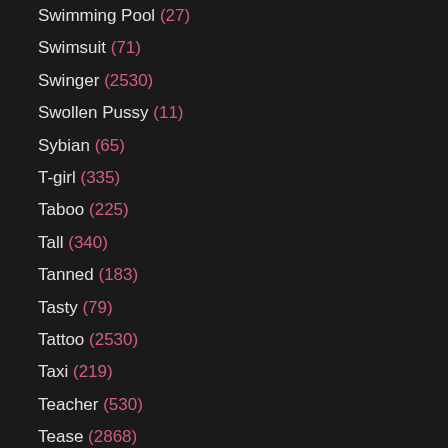Swimming Pool (27)
Swimsuit (71)
Swinger (2530)
Swollen Pussy (11)
Sybian (65)
T-girl (335)
Taboo (225)
Tall (340)
Tanned (183)
Tasty (79)
Tattoo (2530)
Taxi (219)
Teacher (530)
Tease (2868)
Teen (39692)
Teen Anal (5008)